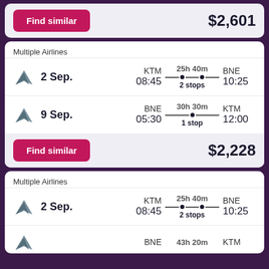Find similar — $2,601
Multiple Airlines
2 Sep. KTM 08:45 — 25h 40m 2 stops — BNE 10:25
9 Sep. BNE 05:30 — 30h 30m 1 stop — KTM 12:00
Find similar — $2,228
Multiple Airlines
2 Sep. KTM 08:45 — 25h 40m 2 stops — BNE 10:25
BNE 43h 20m KTM